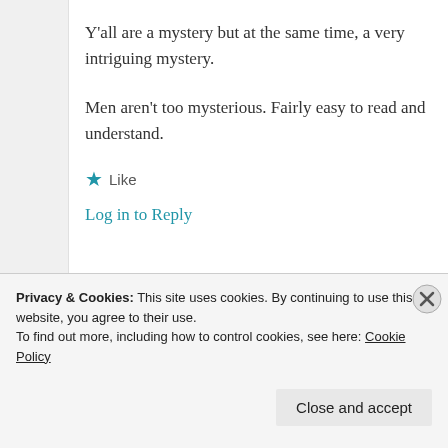Y'all are a mystery but at the same time, a very intriguing mystery.
Men aren't too mysterious. Fairly easy to read and understand.
★ Like
Log in to Reply
Privacy & Cookies: This site uses cookies. By continuing to use this website, you agree to their use.
To find out more, including how to control cookies, see here: Cookie Policy
Close and accept